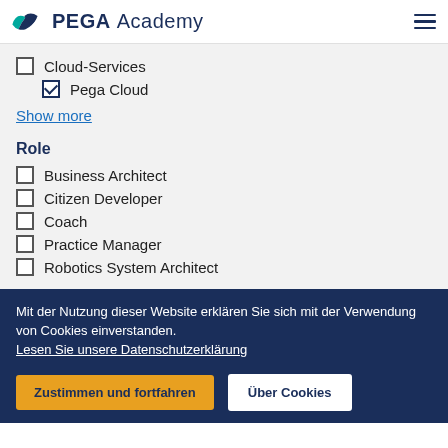PEGA Academy
Cloud-Services (unchecked)
Pega Cloud (checked)
Show more
Role
Business Architect (unchecked)
Citizen Developer (unchecked)
Coach (unchecked)
Practice Manager (unchecked)
Robotics System Architect (unchecked)
Mit der Nutzung dieser Website erklären Sie sich mit der Verwendung von Cookies einverstanden. Lesen Sie unsere Datenschutzerklärung
Zustimmen und fortfahren | Über Cookies